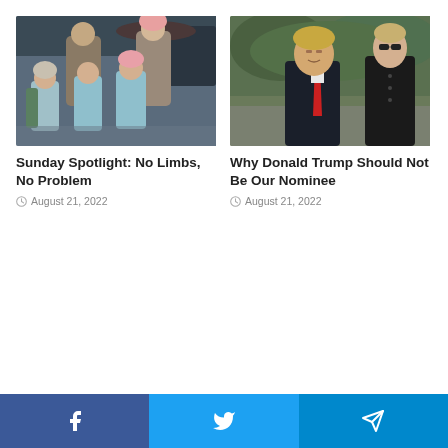[Figure (photo): Family photo with parents and three young children in winter clothing, outdoors]
Sunday Spotlight: No Limbs, No Problem
August 21, 2022
[Figure (photo): Donald Trump in dark suit and red tie standing with a woman wearing sunglasses, outdoors]
Why Donald Trump Should Not Be Our Nominee
August 21, 2022
Facebook | Twitter | Telegram social share buttons